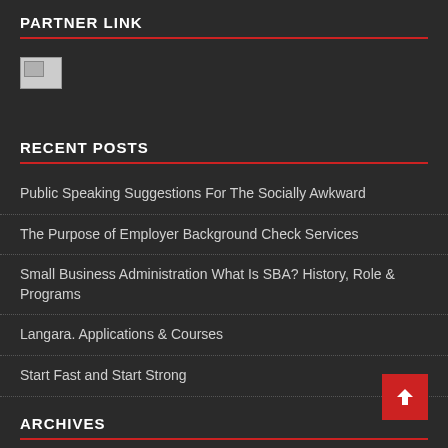PARTNER LINK
[Figure (photo): Broken/placeholder image icon in a bordered box]
RECENT POSTS
Public Speaking Suggestions For The Socially Awkward
The Purpose of Employer Background Check Services
Small Business Administration What Is SBA? History, Role & Programs
Langara. Applications & Courses
Start Fast and Start Strong
ARCHIVES
August 2022